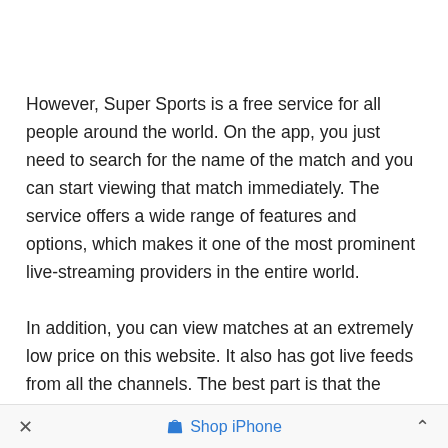However, Super Sports is a free service for all people around the world. On the app, you just need to search for the name of the match and you can start viewing that match immediately. The service offers a wide range of features and options, which makes it one of the most prominent live-streaming providers in the entire world.
In addition, you can view matches at an extremely low price on this website. It also has got live feeds from all the channels. The best part is that the match is shown in high definition and on time. You just need
× Shop iPhone ∧